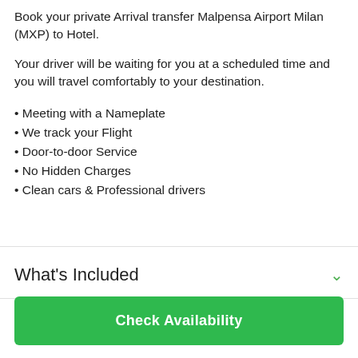Book your private Arrival transfer Malpensa Airport Milan (MXP) to Hotel.
Your driver will be waiting for you at a scheduled time and you will travel comfortably to your destination.
Meeting with a Nameplate
We track your Flight
Door-to-door Service
No Hidden Charges
Clean cars & Professional drivers
What's Included
Check Availability